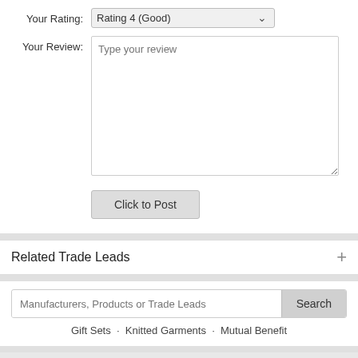Your Rating: Rating 4 (Good)
Your Review: Type your review
Click to Post
Related Trade Leads
Manufacturers, Products or Trade Leads  Search
Gift Sets · Knitted Garments · Mutual Benefit
About Us · Contact Us · Terms of Use · Report Abuse
Copyright 2008-2022 © All Rights Reserved
Global Trades From Here